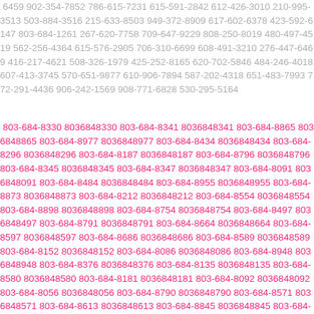6459 902-354-7852 786-615-7231 615-591-2842 612-426-3010 210-995-3513 503-884-3516 215-633-8503 949-372-8909 617-602-6378 423-592-6147 803-684-1261 267-620-7758 709-647-9229 808-250-8019 480-497-4519 562-256-4364 615-576-2905 706-310-6699 608-491-3210 276-447-6469 416-217-4621 508-326-1979 425-252-8165 620-702-5846 484-246-4018 607-413-3745 570-651-9877 610-906-7894 587-202-4318 651-483-7993 772-291-4436 906-242-1569 908-771-6828 530-295-5164
803-684-8330 8036848330 803-684-8341 8036848341 803-684-8865 8036848865 803-684-8977 8036848977 803-684-8434 8036848434 803-684-8296 8036848296 803-684-8187 8036848187 803-684-8796 8036848796 803-684-8345 8036848345 803-684-8347 8036848347 803-684-8091 8036848091 803-684-8484 8036848484 803-684-8955 8036848955 803-684-8873 8036848873 803-684-8212 8036848212 803-684-8554 8036848554 803-684-8898 8036848898 803-684-8754 8036848754 803-684-8497 8036848497 803-684-8791 8036848791 803-684-8664 8036848664 803-684-8597 8036848597 803-684-8686 8036848686 803-684-8589 8036848589 803-684-8152 8036848152 803-684-8086 8036848086 803-684-8948 8036848948 803-684-8376 8036848376 803-684-8135 8036848135 803-684-8580 8036848580 803-684-8181 8036848181 803-684-8092 8036848092 803-684-8056 8036848056 803-684-8790 8036848790 803-684-8571 8036848571 803-684-8613 8036848613 803-684-8845 8036848845 803-684-8525 8036848525 803-684-8486 8036848486 803-684-8834 8036848834 803-684-8545 8036848545 803-684-8858 8036848858 803-684-8...